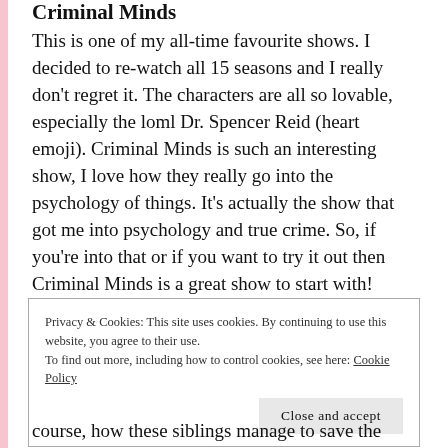Criminal Minds
This is one of my all-time favourite shows. I decided to re-watch all 15 seasons and I really don't regret it. The characters are all so lovable, especially the loml Dr. Spencer Reid (heart emoji). Criminal Minds is such an interesting show, I love how they really go into the psychology of things. It's actually the show that got me into psychology and true crime. So, if you're into that or if you want to try it out then Criminal Minds is a great show to start with!
Privacy & Cookies: This site uses cookies. By continuing to use this website, you agree to their use.
To find out more, including how to control cookies, see here: Cookie Policy
Close and accept
course, how these siblings manage to save the